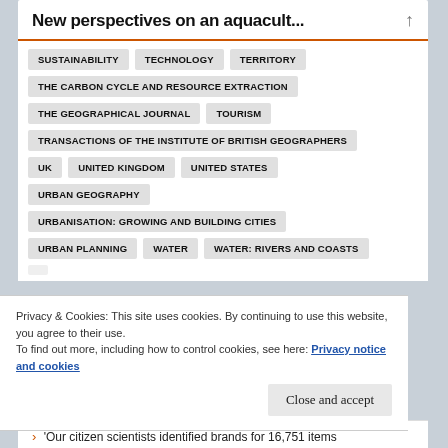New perspectives on an aquacult...
SUSTAINABILITY
TECHNOLOGY
TERRITORY
THE CARBON CYCLE AND RESOURCE EXTRACTION
THE GEOGRAPHICAL JOURNAL
TOURISM
TRANSACTIONS OF THE INSTITUTE OF BRITISH GEOGRAPHERS
UK
UNITED KINGDOM
UNITED STATES
URBAN GEOGRAPHY
URBANISATION: GROWING AND BUILDING CITIES
URBAN PLANNING
WATER
WATER: RIVERS AND COASTS
Privacy & Cookies: This site uses cookies. By continuing to use this website, you agree to their use.
To find out more, including how to control cookies, see here: Privacy notice and cookies
Close and accept
'Our citizen scientists identified brands for 16,751 items